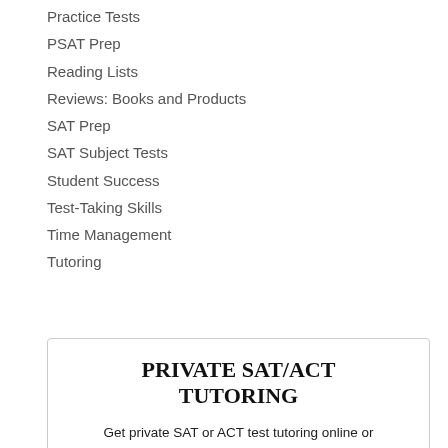Practice Tests
PSAT Prep
Reading Lists
Reviews: Books and Products
SAT Prep
SAT Subject Tests
Student Success
Test-Taking Skills
Time Management
Tutoring
PRIVATE SAT/ACT TUTORING
Get private SAT or ACT test tutoring online or